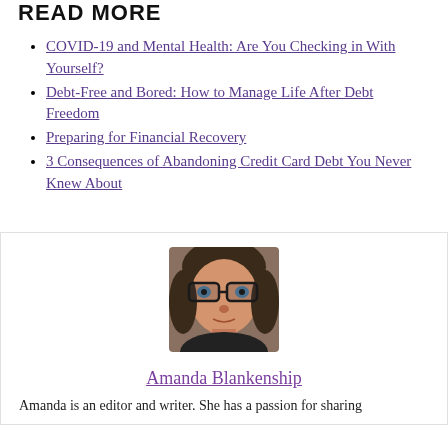READ MORE
COVID-19 and Mental Health: Are You Checking in With Yourself?
Debt-Free and Bored: How to Manage Life After Debt Freedom
Preparing for Financial Recovery
3 Consequences of Abandoning Credit Card Debt You Never Knew About
[Figure (photo): Headshot photo of Amanda Blankenship, a woman with glasses and dark hair]
Amanda Blankenship
Amanda is an editor and writer. She has a passion for sharing